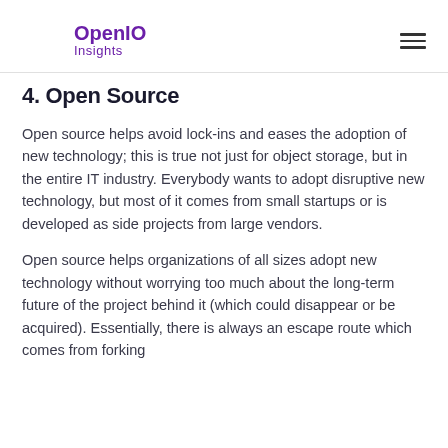OpenIO Insights
4. Open Source
Open source helps avoid lock-ins and eases the adoption of new technology; this is true not just for object storage, but in the entire IT industry. Everybody wants to adopt disruptive new technology, but most of it comes from small startups or is developed as side projects from large vendors.
Open source helps organizations of all sizes adopt new technology without worrying too much about the long-term future of the project behind it (which could disappear or be acquired). Essentially, there is always an escape route which comes from forking